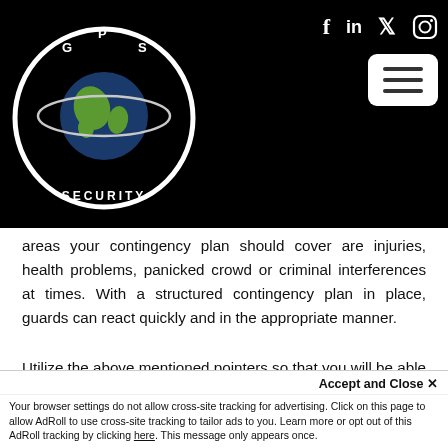GPS Security — navigation header with logo and social icons (Facebook, LinkedIn, Twitter, Instagram) and hamburger menu
areas your contingency plan should cover are injuries, health problems, panicked crowd or criminal interferences at times. With a structured contingency plan in place, guards can react quickly and in the appropriate manner.
Utilize the above mentioned pointers so that you will be able to ensure tight security for your event.
Accept and Close ✕
Your browser settings do not allow cross-site tracking for advertising. Click on this page to allow AdRoll to use cross-site tracking to tailor ads to you. Learn more or opt out of this AdRoll tracking by clicking here. This message only appears once.